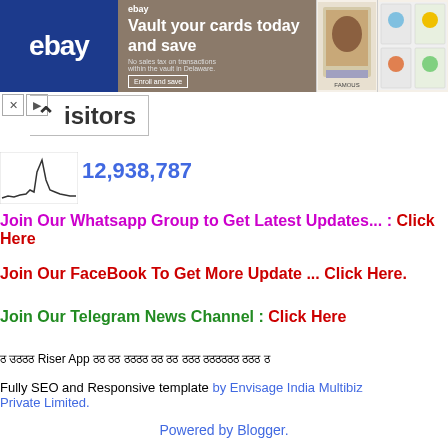[Figure (screenshot): eBay advertisement banner — 'Vault your cards today and save' with eBay logo on blue background, card images on right]
Visitors
[Figure (continuous-plot): Small sparkline/visitor traffic chart with spike]
12,938,787
Join Our Whatsapp Group to Get Latest Updates... : Click Here
Join Our FaceBook To Get More Update ... Click Here.
Join Our Telegram News Channel : Click Here
ठ उठठठ Riser App ठठ ठठ ठठठठ ठठ ठठ ठठठ ठठठठठठ ठठठ ठ
Fully SEO and Responsive template by Envisage India Multibiz Private Limited.
Powered by Blogger.